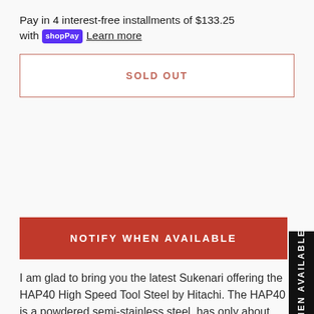Pay in 4 interest-free installments of $133.25 with shop Pay Learn more
SOLD OUT
NOTIFY WHEN AVAILABLE
I am glad to bring you the latest Sukenari offering the HAP40 High Speed Tool Steel by Hitachi. The HAP40 is a powdered semi-stainless steel, has only about 4% of Chromium. The high Chromium content in stainless steel tends to stick to food and